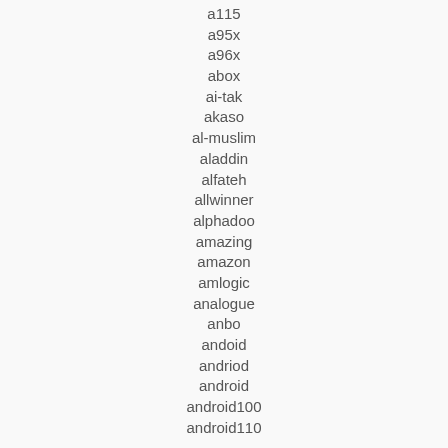a115
a95x
a96x
abox
ai-tak
akaso
al-muslim
aladdin
alfateh
allwinner
alphadoo
amazing
amazon
amlogic
analogue
anbo
andoid
andriod
android
android100
android110